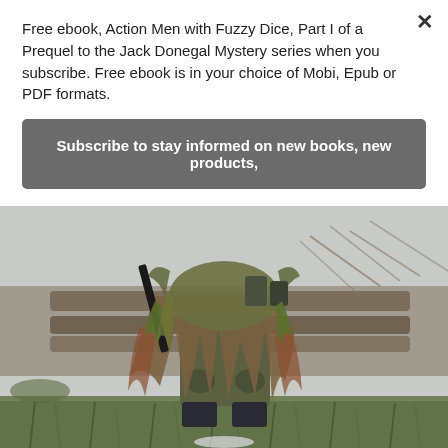Free ebook, Action Men with Fuzzy Dice, Part I of a Prequel to the Jack Donegal Mystery series when you subscribe. Free ebook is in your choice of Mobi, Epub or PDF formats.
Subscribe to stay informed on new books, new products,
[Figure (photo): Person wearing military ghillie suit (camouflage suit with foliage) standing outdoors, holding a rifle, with wooden logs and grass in background.]